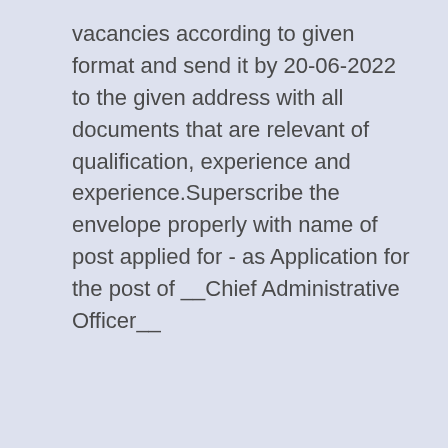vacancies according to given format and send it by 20-06-2022 to the given address with all documents that are relevant of qualification, experience and experience.Superscribe the envelope properly with name of post applied for - as Application for the post of __Chief Administrative Officer__